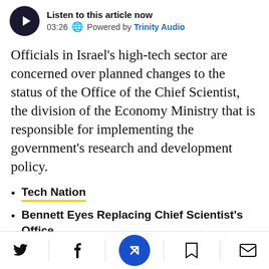[Figure (other): Audio player widget: play button (dark circle with triangle), duration 03:26, globe icon, 'Powered by Trinity Audio']
Officials in Israel's high-tech sector are concerned over planned changes to the status of the Office of the Chief Scientist, the division of the Economy Ministry that is responsible for implementing the government's research and development policy.
Tech Nation
Bennett Eyes Replacing Chief Scientist's Office
Chief Scientist Wa... dget Cuts Are
[Figure (other): Bottom navigation bar with Twitter, Facebook, center blue circle N icon, bookmark, and email icons]